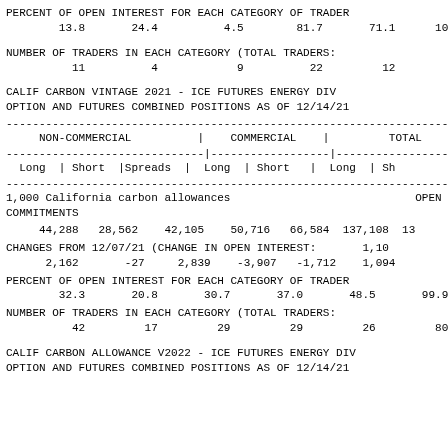PERCENT OF OPEN INTEREST FOR EACH CATEGORY OF TRADER
        13.8       24.4          4.5        81.7       71.1      100.0
NUMBER OF TRADERS IN EACH CATEGORY (TOTAL TRADERS:
          11          4            9          22         12         35
CALIF CARBON VINTAGE 2021 - ICE FUTURES ENERGY DIV
OPTION AND FUTURES COMBINED POSITIONS AS OF 12/14/21
| NON-COMMERCIAL (Long, Short, Spreads) | COMMERCIAL (Long, Short) | TOTAL (Long, Short) |
| --- | --- | --- |
| 1,000 California carbon allowances |  | OPEN COMMITMENTS |
| 44,288   28,562   42,105 | 50,716   66,584 | 137,108  13... |
| CHANGES FROM 12/07/21 (CHANGE IN OPEN INTEREST: 1,10 |  |  |
| 2,162   -27   2,839 | -3,907   -1,712 | 1,094 |
| PERCENT OF OPEN INTEREST FOR EACH CATEGORY OF TRADER |  |  |
| 32.3   20.8   30.7 | 37.0   48.5 | 99.9 |
| NUMBER OF TRADERS IN EACH CATEGORY (TOTAL TRADERS: |  |  |
| 42   17   29 | 29   26 | 80 |
CALIF CARBON ALLOWANCE V2022 - ICE FUTURES ENERGY DIV
OPTION AND FUTURES COMBINED POSITIONS AS OF 12/14/21